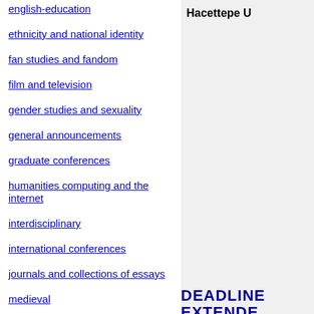english-education
ethnicity and national identity
fan studies and fandom
film and television
gender studies and sexuality
general announcements
graduate conferences
humanities computing and the internet
interdisciplinary
international conferences
journals and collections of essays
medieval
modernist studies
Hacettepe U
DEADLINE EXTENDED